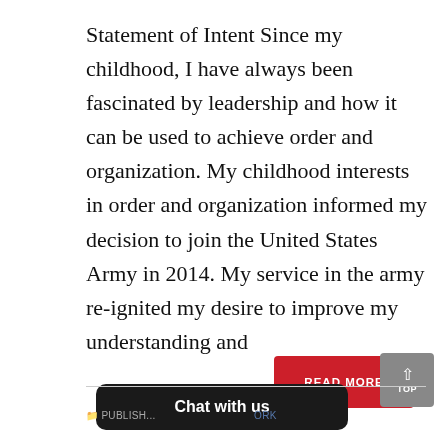Statement of Intent Since my childhood, I have always been fascinated by leadership and how it can be used to achieve order and organization. My childhood interests in order and organization informed my decision to join the United States Army in 2014. My service in the army re-ignited my desire to improve my understanding and
[Figure (other): Red 'READ MORE' button and grey 'TOP' navigation button]
[Figure (other): Dark 'Chat with us' chat widget bar]
PUBLISH... ORK